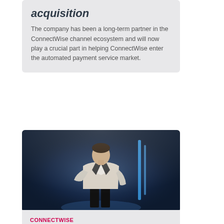acquisition
The company has been a long-term partner in the ConnectWise channel ecosystem and will now play a crucial part in helping ConnectWise enter the automated payment service market.
[Figure (photo): Person standing on a stage from behind, with blue dramatic lighting in the background]
CONNECTWISE
BitTitan announces gold sponsorship of IT Nation APAC event